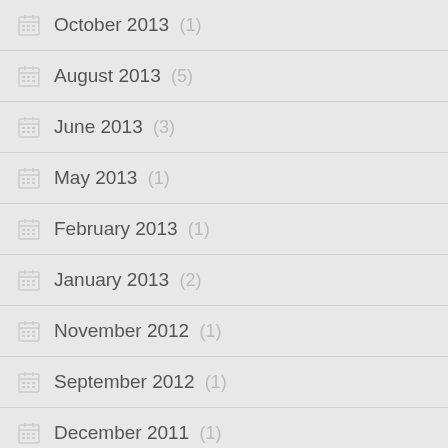October 2013 (1)
August 2013 (5)
June 2013 (3)
May 2013 (1)
February 2013 (1)
January 2013 (2)
November 2012 (1)
September 2012 (1)
December 2011 (1)
October 2011 (1)